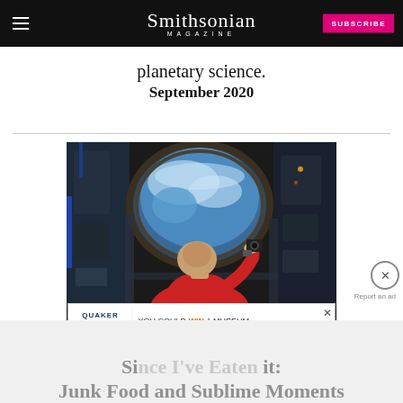Smithsonian MAGAZINE | SUBSCRIBE
planetary science.
September 2020
[Figure (photo): Astronaut in red shirt photographing through the cupola window of the International Space Station, with Earth visible through the circular window above]
[Figure (infographic): Quaker advertisement: YOU COULD WIN A MUSEUM FIELD TRIP TO D.C. LEARN MORE]
Si[nce I've Eaten] it: Junk Food and Sublime Moments